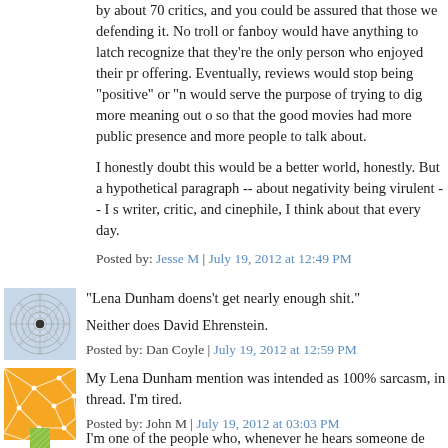by about 70 critics, and you could be assured that those were defending it. No troll or fanboy would have anything to latch onto, recognize that they're the only person who enjoyed their preferred offering. Eventually, reviews would stop being "positive" or "negative" - would serve the purpose of trying to dig more meaning out of films, so that the good movies had more public presence and more interested people to talk about.
I honestly doubt this would be a better world, honestly. But about a hypothetical paragraph -- about negativity being virulent -- I s writer, critic, and cinephile, I think about that every day.
Posted by: Jesse M | July 19, 2012 at 12:49 PM
[Figure (illustration): Avatar icon: circular geometric pattern on light blue background]
"Lena Dunham doens't get nearly enough shit."

Neither does David Ehrenstein.

Posted by: Dan Coyle | July 19, 2012 at 12:59 PM
[Figure (illustration): Avatar icon: orange and white geometric/network pattern]
My Lena Dunham mention was intended as 100% sarcasm, in thread. I'm tired.

Posted by: John M | July 19, 2012 at 03:03 PM
[Figure (illustration): Avatar icon: green and white diagonal pattern]
I'm one of the people who, whenever he hears someone de